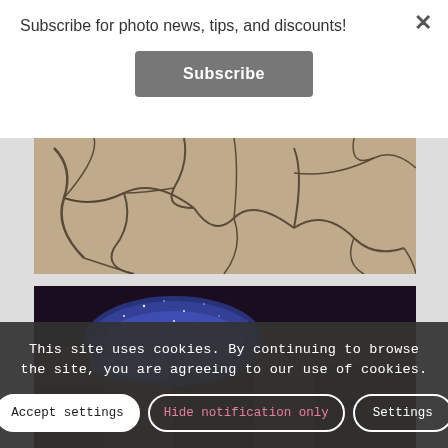Subscribe for photo news, tips, and discounts!
Subscribe
×
[Figure (photo): Aerial view of cracked dry earth with deep fissures in a desert landscape]
[Figure (photo): Night sky with stars and blue light over dark canyon rocks]
This site uses cookies. By continuing to browse the site, you are agreeing to our use of cookies.
Accept settings
Hide notification only
Settings